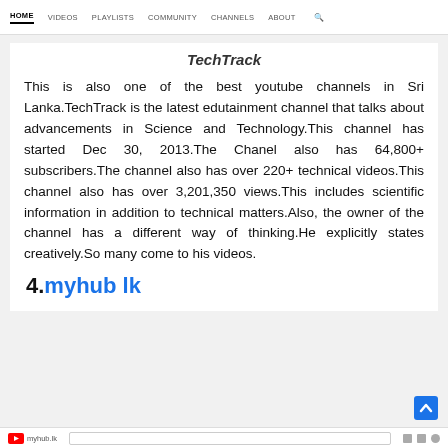HOME  VIDEOS  PLAYLISTS  COMMUNITY  CHANNELS  ABOUT
TechTrack
This is also one of the best youtube channels in Sri Lanka.TechTrack is the latest edutainment channel that talks about advancements in Science and Technology.This channel has started Dec 30, 2013.The Chanel also has 64,800+ subscribers.The channel also has over 220+ technical videos.This channel also has over 3,201,350 views.This includes scientific information in addition to technical matters.Also, the owner of the channel has a different way of thinking.He explicitly states creatively.So many come to his videos.
4. myhub lk
myhub.lk